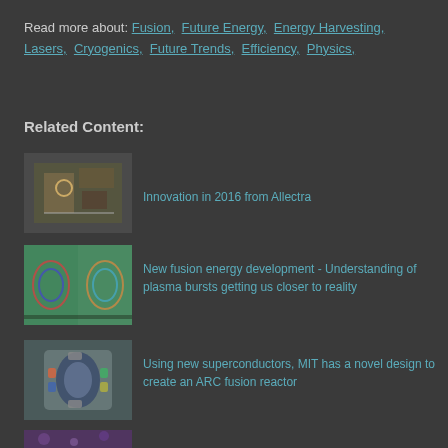Read more about: Fusion, Future Energy, Energy Harvesting, Lasers, Cryogenics, Future Trends, Efficiency, Physics,
Related Content:
[Figure (photo): Laboratory equipment photo - cryogenic or laser apparatus]
Innovation in 2016 from Allectra
[Figure (photo): Plasma burst simulation visualization - colorful scientific image]
New fusion energy development - Understanding of plasma bursts getting us closer to reality
[Figure (photo): ARC fusion reactor design illustration - cross-section diagram]
Using new superconductors, MIT has a novel design to create an ARC fusion reactor
[Figure (photo): Partial photo at bottom of page - purple/space image]